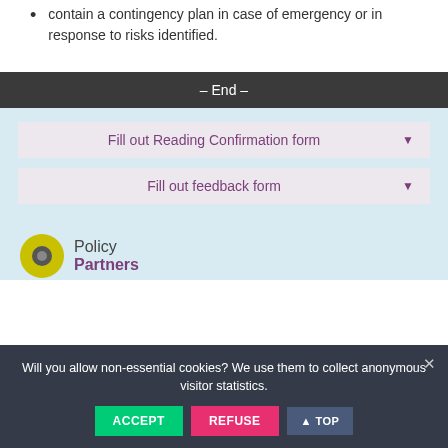contain a contingency plan in case of emergency or in response to risks identified.
– End –
Fill out Reading Confirmation form
Fill out feedback form
[Figure (logo): Policy Partners logo with circular yellow and grey icon]
Will you allow non-essential cookies? We use them to collect anonymous visitor statistics.